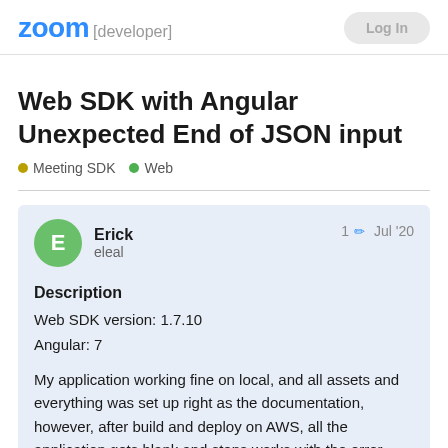zoom [developer]
Web SDK with Angular Unexpected End of JSON input
Meeting SDK  Web
Erick
eleal
1  Jul '20
Description
Web SDK version: 1.7.10
Angular: 7

My application working fine on local, and all assets and everything was set up right as the documentation, however, after build and deploy on AWS, all the application gets blank and stops works with the error described below:
Error
1 / 10